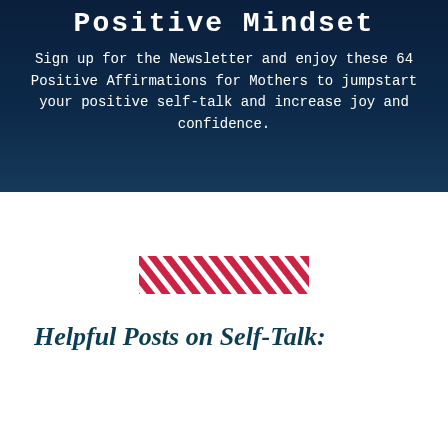Positive Mindset
Sign up for the Newsletter and enjoy these 64 Positive Affirmations for Mothers to jumpstart your positive self-talk and increase joy and confidence.
[Figure (illustration): Red diagonal stripe decorative graphic element]
Helpful Posts on Self-Talk: